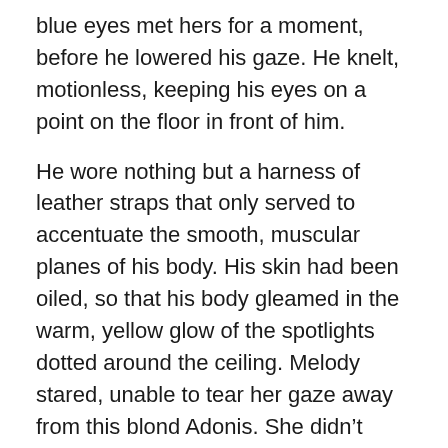blue eyes met hers for a moment, before he lowered his gaze. He knelt, motionless, keeping his eyes on a point on the floor in front of him.
He wore nothing but a harness of leather straps that only served to accentuate the smooth, muscular planes of his body. His skin had been oiled, so that his body gleamed in the warm, yellow glow of the spotlights dotted around the ceiling. Melody stared, unable to tear her gaze away from this blond Adonis. She didn’t even notice his Mistress until the elegant woman rose gracefully to her feet, and led her slave toward their table.
She was taller than Melody would have been without her boots, although some of that was due to the high spiked heels of the blood-red shoes she was wearing. She was curvaceous where Melody was slender, and carried